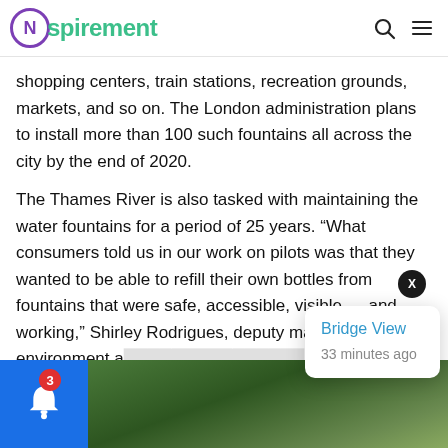Nspirement
shopping centers, train stations, recreation grounds, markets, and so on. The London administration plans to install more than 100 such fountains all across the city by the end of 2020.
The Thames River is also tasked with maintaining the water fountains for a period of 25 years. “What consumers told us in our work on pilots was that they wanted to be able to refill their own bottles from fountains that were safe, accessible, visible — and working,” Shirley Rodrigues, deputy mayor for environment a…
Bridge View
33 minutes ago